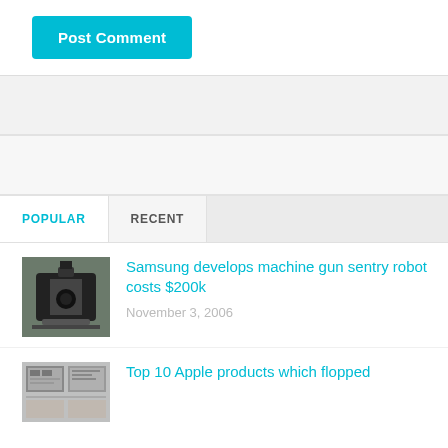Post Comment
[Figure (photo): Thumbnail image of Samsung machine gun sentry robot]
Samsung develops machine gun sentry robot costs $200k
November 3, 2006
[Figure (photo): Thumbnail image of Apple products article]
Top 10 Apple products which flopped